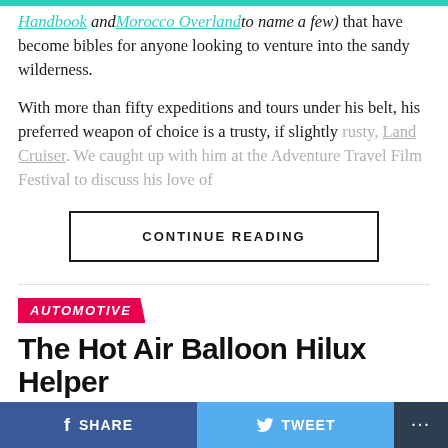Handbook and Morocco Overland to name a few) that have become bibles for anyone looking to venture into the sandy wilderness.
With more than fifty expeditions and tours under his belt, his preferred weapon of choice is a trusty, if slightly rusty, Land Cruiser. We caught up with him at the Adventure Travel Film Festival to discuss his love of
CONTINUE READING
AUTOMOTIVE
The Hot Air Balloon Hilux Helper
The security guard looks half-asleep as she directs me into
SHARE   TWEET   ...